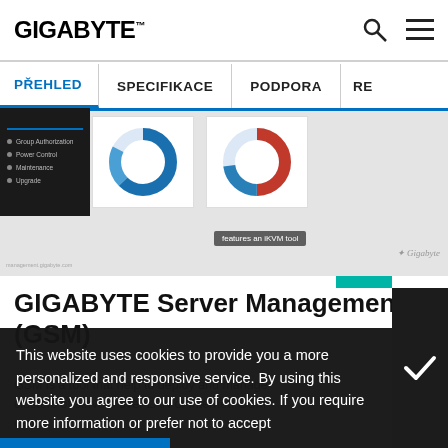GIGABYTE
PŘEHLED | SPECIFIKACE | PODPORA | RE
[Figure (screenshot): Screenshot of GIGABYTE Server Management interface showing a dark sidebar with menu items (Group Authorization, Power Control, Maintenance, Upgrade) and donut/ring charts panels. Features an iKVM tool label visible. GSM logo watermark in bottom right.]
GIGABYTE Server Management (GSM)
GSM is a tool that help to deploy and manage clusters of servers over LAN or internet. GSM can...
This website uses cookies to provide you a more personalized and responsive service. By using this website you agree to our use of cookies. If you require more information or prefer not to accept